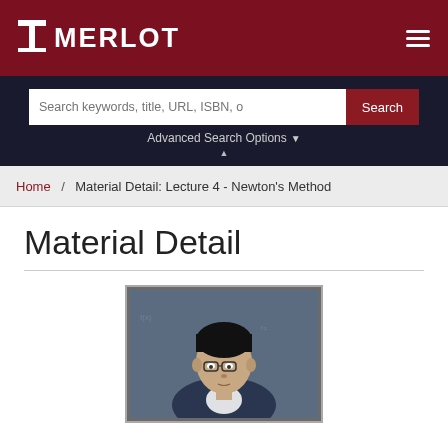MERLOT
Search keywords, title, URL, ISBN, o   Search
Advanced Search Options
Home / Material Detail: Lecture 4 - Newton's Method
Material Detail
[Figure (photo): Thumbnail photo of a lecturer (Asian man with glasses) standing in front of a chalkboard, for Lecture 4 - Newton's Method]